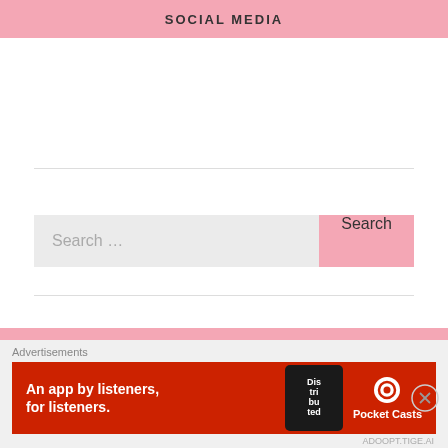SOCIAL MEDIA
[Figure (other): Empty white space area below social media bar]
Search ...
FEATURES
Art Therapy
Creative Crafters
Culture Trip
[Figure (other): Advertisement banner: Pocket Casts - An app by listeners, for listeners.]
Advertisements